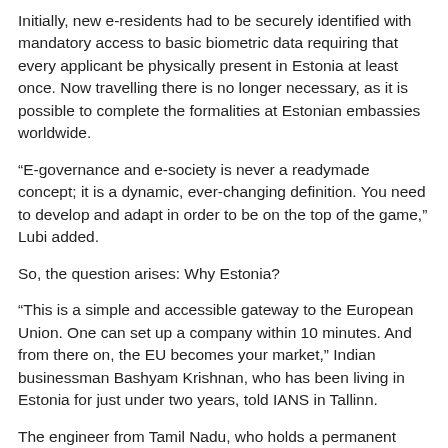Initially, new e-residents had to be securely identified with mandatory access to basic biometric data requiring that every applicant be physically present in Estonia at least once. Now travelling there is no longer necessary, as it is possible to complete the formalities at Estonian embassies worldwide.
“E-governance and e-society is never a readymade concept; it is a dynamic, ever-changing definition. You need to develop and adapt in order to be on the top of the game,” Lubi added.
So, the question arises: Why Estonia?
“This is a simple and accessible gateway to the European Union. One can set up a company within 10 minutes. And from there on, the EU becomes your market,” Indian businessman Bashyam Krishnan, who has been living in Estonia for just under two years, told IANS in Tallinn.
The engineer from Tamil Nadu, who holds a permanent resident card which offers most of the services that the e-residency card does, said it is such e-services that make Estonia one of the most digitalised countries globally and a great option for established companies as well as start-ups.
“The services offered as a part of this are varied and nearly everything can be done with the touch of a button. The system is that easy and user friendly. Additionally, multiple security measures are there from secure